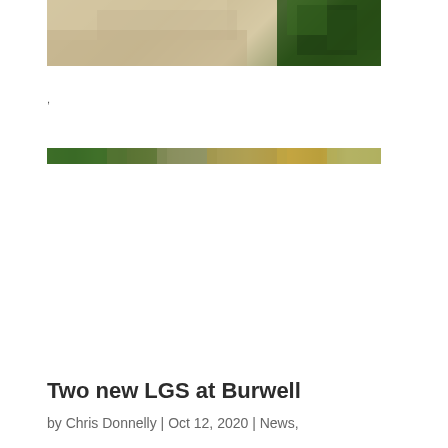[Figure (photo): Top portion of an outdoor photo showing sandy/grassy terrain with some green vegetation in the upper right corner]
,
[Figure (photo): Narrow horizontal strip photo showing a landscape with green foliage on the left and golden/autumn tones on the right]
Two new LGS at Burwell
by Chris Donnelly | Oct 12, 2020 | News,